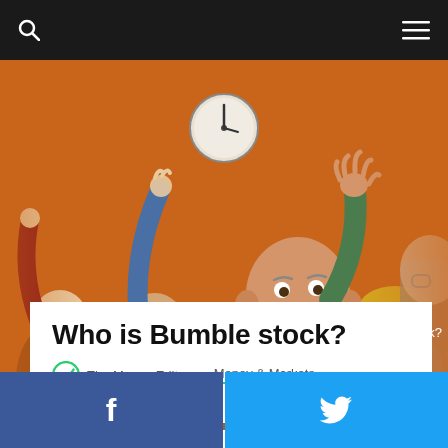Search | Menu
[Figure (photo): Older adults in a classroom setting raising their hands, orange/brown wall background with a clock, group learning scene]
Who is Bumble stock?
The Money Editors · Money & Markets · 9 min de lecture
[Figure (other): Facebook share button (dark blue with f icon) and Twitter share button (light blue with bird icon)]